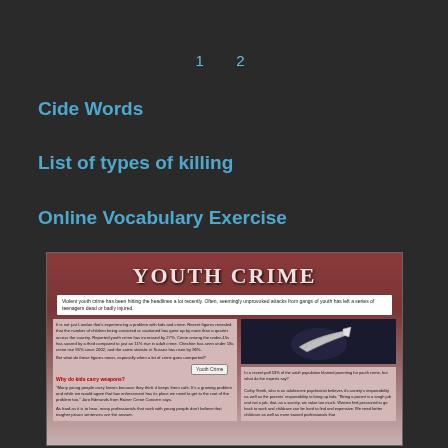1  2
Cide Words
List of types of killing
Online Vocabulary Exercise
[Figure (screenshot): Screenshot of a web page about Youth Crime. The page has a dark red/maroon header with 'YOUTH CRIME' in large white text. Below is a subtitle bar describing violent youth crime hitting the headlines. The body has two columns: left column with article text about youth crime statistics and a section 'Why do kids carry weapons?' with quotes from experts; right column with an image of a hand holding a knife and a text box about a poll and expert opinion from Cathy Smith, an adolescent psychiatrist.]